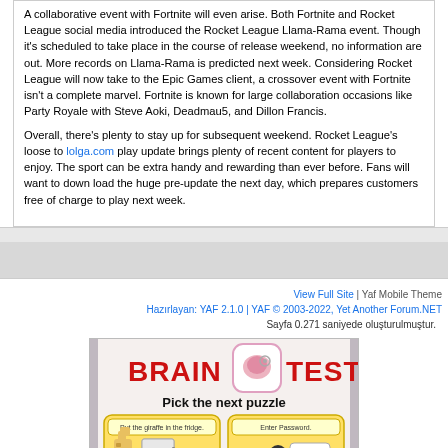A collaborative event with Fortnite will even arise. Both Fortnite and Rocket League social media introduced the Rocket League Llama-Rama event. Though it's scheduled to take place in the course of release weekend, no information are out. More records on Llama-Rama is predicted next week. Considering Rocket League will now take to the Epic Games client, a crossover event with Fortnite isn't a complete marvel. Fortnite is known for large collaboration occasions like Party Royale with Steve Aoki, Deadmau5, and Dillon Francis.

Overall, there's plenty to stay up for subsequent weekend. Rocket League's loose to lolga.com play update brings plenty of recent content for players to enjoy. The sport can be extra handy and rewarding than ever before. Fans will want to down load the huge pre-update the next day, which prepares customers free of charge to play next week.
View Full Site | Yaf Mobile Theme
Hazırlayan: YAF 2.1.0 | YAF © 2003-2022, Yet Another Forum.NET
Sayfa 0.271 saniyede oluşturulmuştur.
[Figure (illustration): Brain Test advertisement image showing 'BRAIN TEST - Pick the next puzzle' with two puzzle thumbnails: one showing a giraffe and fridge labeled 'Put the giraffe in the fridge' and another showing a person entering a password labeled 'Enter Password.' Below are app store download buttons.]